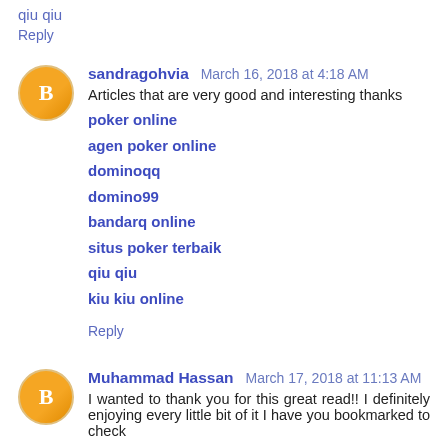qiu qiu
Reply
sandragohvia  March 16, 2018 at 4:18 AM
Articles that are very good and interesting thanks
poker online
agen poker online
dominoqq
domino99
bandarq online
situs poker terbaik
qiu qiu
kiu kiu online
Reply
Muhammad Hassan  March 17, 2018 at 11:13 AM
I wanted to thank you for this great read!! I definitely enjoying every little bit of it I have you bookmarked to check